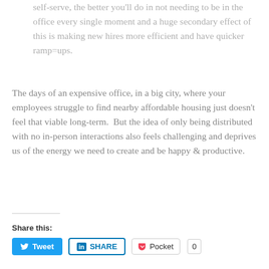self-serve, the better you'll do in not needing to be in the office every single moment and a huge secondary effect of this is making new hires more efficient and have quicker ramp=ups.
The days of an expensive office, in a big city, where your employees struggle to find nearby affordable housing just doesn't feel that viable long-term.  But the idea of only being distributed with no in-person interactions also feels challenging and deprives us of the energy we need to create and be happy & productive.
Share this:
Tweet   SHARE   Pocket  0